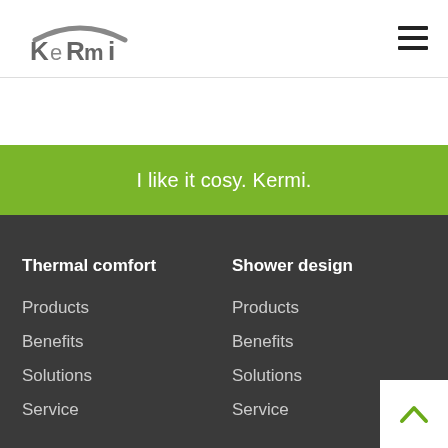[Figure (logo): Kermi logo — stylized arc above the text KERMI in grey]
[Figure (other): Hamburger menu icon — three horizontal dark bars]
I like it cosy. Kermi.
Thermal comfort
Products
Benefits
Solutions
Service
Shower design
Products
Benefits
Solutions
Service